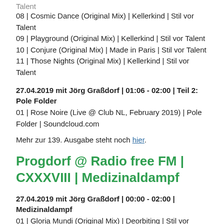Talent
08 | Cosmic Dance (Original Mix) | Kellerkind | Stil vor Talent
09 | Playground (Original Mix) | Kellerkind | Stil vor Talent
10 | Conjure (Original Mix) | Made in Paris | Stil vor Talent
11 | Those Nights (Original Mix) | Kellerkind | Stil vor Talent
27.04.2019 mit Jörg Graßdorf | 01:06 - 02:00 | Teil 2: Pole Folder
01 | Rose Noire (Live @ Club NL, February 2019) | Pole Folder | Soundcloud.com
Mehr zur 139. Ausgabe steht noch hier.
Progdorf @ Radio free FM | CXXXVIII | Medizinaldampf
27.04.2019 mit Jörg Graßdorf | 00:00 - 02:00 | Medizinaldampf
01 | Gloria Mundi (Original Mix) | Deorbiting | Stil vor Talent